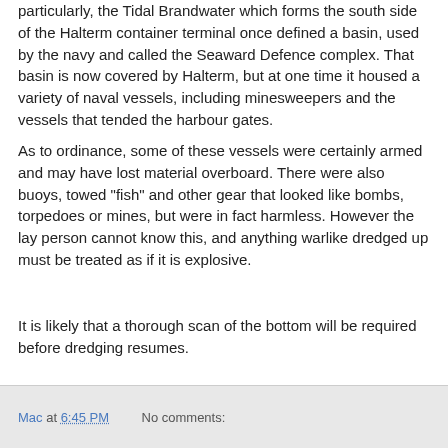particularly, the Tidal Brandwater which forms the south side of the Halterm container terminal once defined a basin, used by the navy and called the Seaward Defence complex. That basin is now covered by Halterm, but at one time it housed a variety of naval vessels, including minesweepers and the vessels that tended the harbour gates.
As to ordinance, some of these vessels were certainly armed and may have lost material overboard. There were also buoys, towed "fish" and other gear that looked like bombs, torpedoes or mines, but were in fact harmless. However the lay person cannot know this, and anything warlike dredged up must be treated as if it is explosive.
It is likely that a thorough scan of the bottom will be required before dredging resumes.
.
Mac at 6:45 PM    No comments: